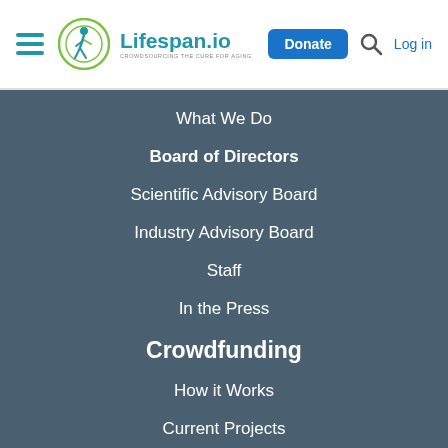[Figure (logo): Lifespan.io logo with circular figure icon and text 'Lifespan.io' and tagline 'Crowdsourcing the Cure for Aging']
What We Do
Board of Directors
Scientific Advisory Board
Industry Advisory Board
Staff
In the Press
Crowdfunding
How it Works
Current Projects